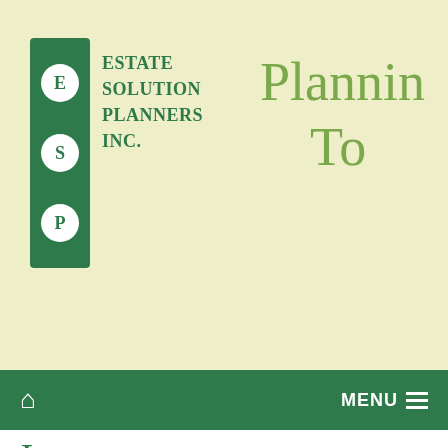[Figure (logo): Estate Solution Planners Inc. logo with green background and letter circles E, S, P stacked vertically, next to company name text]
Planning To
Home | MENU
Insurance